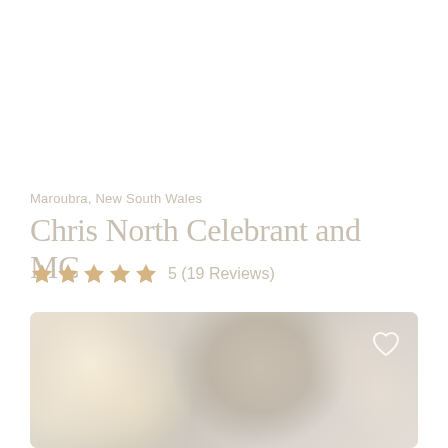Maroubra, New South Wales
Chris North Celebrant and MC
5 (19 Reviews)
[Figure (photo): Photo of Chris North Celebrant and MC with bokeh background, heart/favorite icon in top right corner]